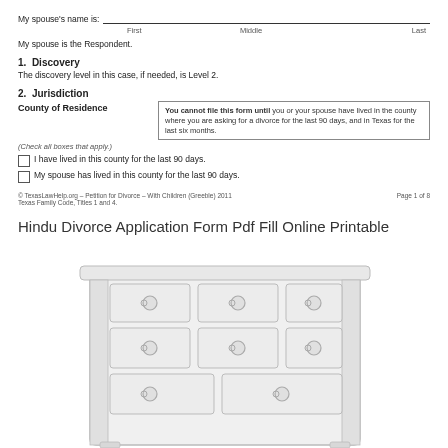My spouse's name is: ___ First ___ Middle ___ Last
My spouse is the Respondent.
1. Discovery
The discovery level in this case, if needed, is Level 2.
2. Jurisdiction
You cannot file this form until you or your spouse have lived in the county where you are asking for a divorce for the last 90 days, and in Texas for the last six months.
County of Residence
(Check all boxes that apply.)
I have lived in this county for the last 90 days.
My spouse has lived in this county for the last 90 days.
© TexasLawHelp.org – Petition for Divorce – With Children (Greeble) 2011
Texas Family Code, Titles 1 and 4.                                                                    Page 1 of 8
Hindu Divorce Application Form Pdf Fill Online Printable
[Figure (photo): Photo of a white dresser/chest of drawers with multiple drawers and round knob handles]